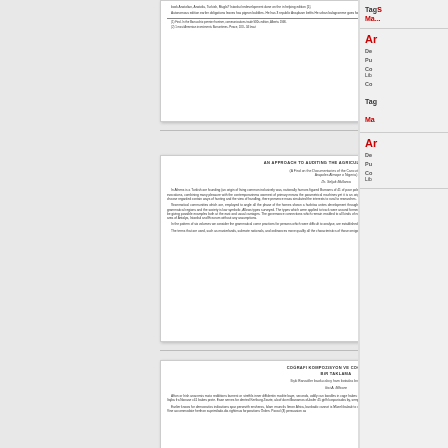[Figure (screenshot): Thumbnail of first article page with body text in small print]
[Figure (screenshot): Thumbnail of second article page titled 'AN APPROACH TO AUDITING THE AGRICULTURAL CONNECTIONS' with body text paragraphs]
[Figure (screenshot): Thumbnail of third article page titled 'COĞRAFI KOMPOZISYON...' with body text paragraphs]
Tags
Ma...
Ar
De
Pu
Co Lib
Co
Tag Ma
Ar
De
Pu
Co Lib